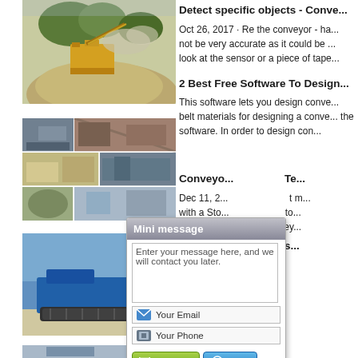[Figure (photo): Industrial conveyor/crushing equipment with dust cloud and gravel mound]
[Figure (photo): Grid of 6 industrial conveyor and mining equipment photos]
[Figure (photo): Blue mobile crusher/conveyor machine on tracks in outdoor setting]
[Figure (photo): Partial conveyor equipment photo (bottom, cut off)]
Detect specific objects - Conve...
Oct 26, 2017 · Re the conveyor - ha... not be very accurate as it could be ... look at the sensor or a piece of tape...
2 Best Free Software To Design...
This software lets you design conve... belt materials for designing a conve... the software. In order to design con...
Conveyo...                               Te...
Dec 11, 2...                              t m... with a Sto...                             to... push NPC...                             ey...
Conveyo...                               s...
[Figure (screenshot): Mini message popup dialog with textarea, email field, phone field, and Email Us / Send buttons]